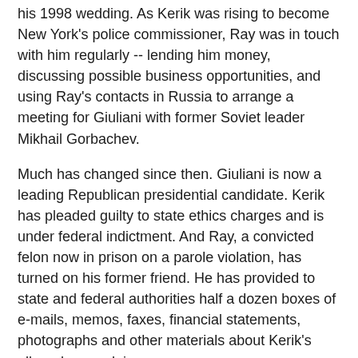his 1998 wedding. As Kerik was rising to become New York's police commissioner, Ray was in touch with him regularly -- lending him money, discussing possible business opportunities, and using Ray's contacts in Russia to arrange a meeting for Giuliani with former Soviet leader Mikhail Gorbachev.
Much has changed since then. Giuliani is now a leading Republican presidential candidate. Kerik has pleaded guilty to state ethics charges and is under federal indictment. And Ray, a convicted felon now in prison on a parole violation, has turned on his former friend. He has provided to state and federal authorities half a dozen boxes of e-mails, memos, faxes, financial statements, photographs and other materials about Kerik's alleged wrongdoing.
That evidence, reviewed by The Washington Post, shows that Kerik brought Ray into contact with Giuliani on a handful of occasions documented in photos and that he invoked Giuliani's name in connection with a New Jersey construction company with alleged mob ties that is now at the heart of the criminal cases.